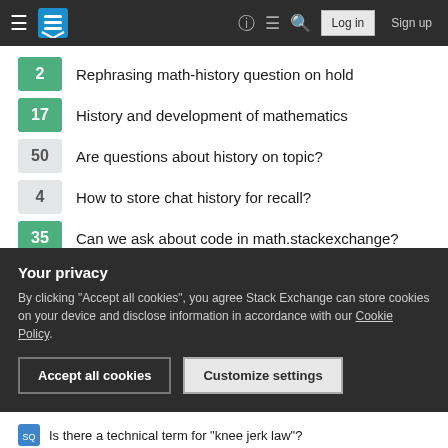Stack Exchange navigation bar with hamburger menu, logo, help, chat, search icons, Log in and Sign up buttons
2 — Rephrasing math-history question on hold
17 — History and development of mathematics
50 — Are questions about history on topic?
4 — How to store chat history for recall?
35 — Can we ask about code in math.stackexchange?
Hot Network Questions
Why can't we have hardware-specific graphics APIs?
Have we ever observed electron in gravitational interaction?
Your privacy
By clicking "Accept all cookies", you agree Stack Exchange can store cookies on your device and disclose information in accordance with our Cookie Policy.
Is there a technical term for "knee jerk law"?